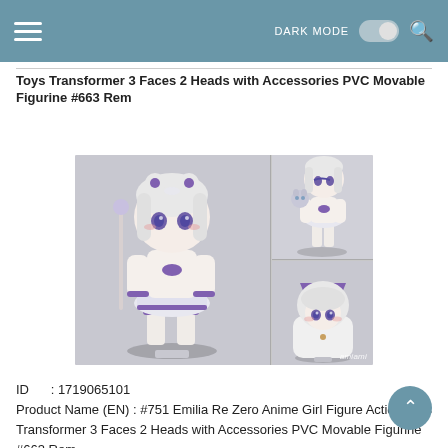DARK MODE [toggle]
Toys Transformer 3 Faces 2 Heads with Accessories PVC Movable Figurine #663 Rem
[Figure (photo): Product photo collage of Nendoroid Emilia Re:Zero figure #751 showing three poses: main large image of the figure in default pose with white/purple outfit and silver hair, top-right shows figure with a small cat accessory, bottom-right shows figure in a hooded cat-ear cloak variant. AmiAmi watermark in bottom-right corner.]
ID      : 1719065101
Product Name (EN) : #751 Emilia Re Zero Anime Girl Figure Action Toys Transformer 3 Faces 2 Heads with Accessories PVC Movable Figurine #663 Rem